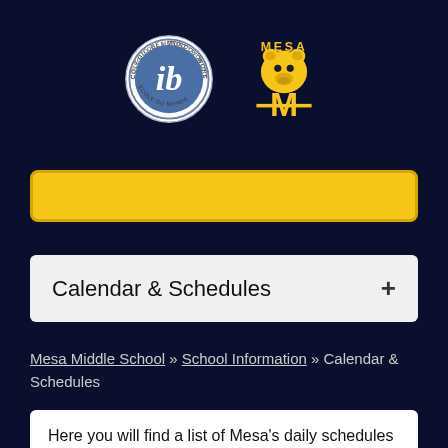[Figure (logo): IB World School circular logo (blue and white) and Mesa Middle School bear mascot logo with gold M]
[Figure (other): Yellow search bar / input field]
Calendar & Schedules
Mesa Middle School » School Information » Calendar & Schedules
Here you will find a list of Mesa's daily schedules for classes, our delayed start schedule as well as our